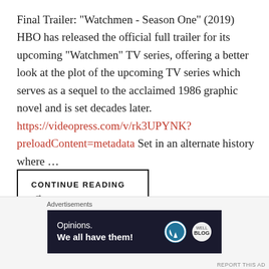Final Trailer: "Watchmen - Season One" (2019) HBO has released the official full trailer for its upcoming “Watchmen” TV series, offering a better look at the plot of the upcoming TV series which serves as a sequel to the acclaimed 1986 graphic novel and is set decades later. https://videopress.com/v/rk3UPYNK?preloadContent=metadata Set in an alternate history where …
CONTINUE READING →
Advertisements
[Figure (other): Advertisement banner with dark navy background reading 'Opinions. We all have them!' with WordPress logo and another circular logo on the right.]